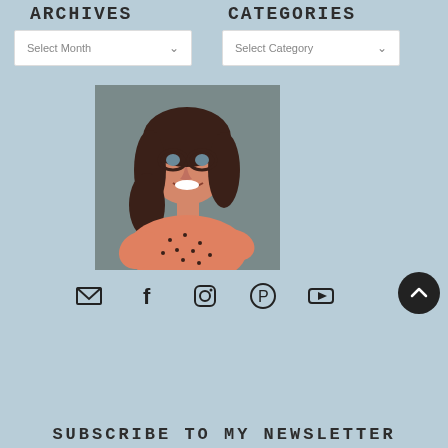ARCHIVES
CATEGORIES
[Figure (screenshot): Dropdown selector labeled 'Select Month' with chevron arrow]
[Figure (screenshot): Dropdown selector labeled 'Select Category' with chevron arrow]
[Figure (photo): Portrait photo of a smiling woman with dark hair and glasses wearing an orange/salmon polka dot top]
[Figure (infographic): Row of social media icons: email envelope, Facebook f, Instagram camera, Pinterest P, YouTube play button]
[Figure (other): Scroll-to-top circular button with upward chevron arrow]
SUBSCRIBE TO MY NEWSLETTER